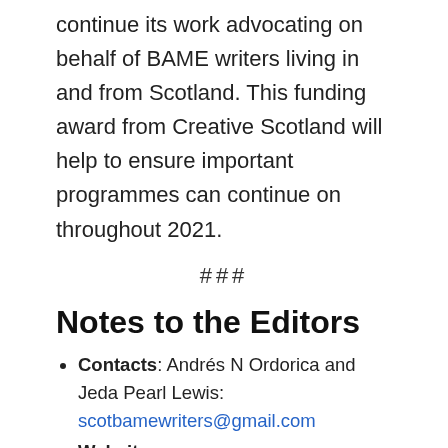continue its work advocating on behalf of BAME writers living in and from Scotland. This funding award from Creative Scotland will help to ensure important programmes can continue on throughout 2021.
###
Notes to the Editors
Contacts: Andrés N Ordorica and Jeda Pearl Lewis: scotbamewriters@gmail.com
Website: https://scottishbamewritersnetwork.org/
Twitter: https://twitter.com/ScotBAMEwriters